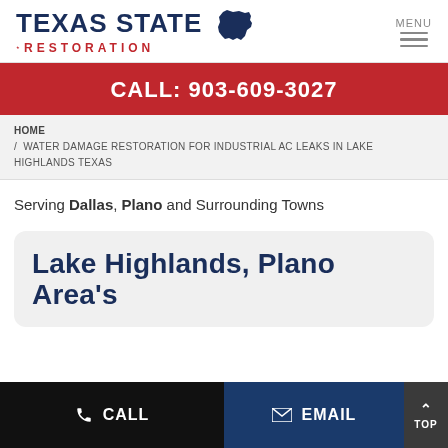[Figure (logo): Texas State Restoration logo with bold blue 'TEXAS STATE' text and red 'RESTORATION' text with a star, and a Texas state silhouette icon]
MENU
CALL: 903-609-3027
HOME / WATER DAMAGE RESTORATION FOR INDUSTRIAL AC LEAKS IN LAKE HIGHLANDS TEXAS
Serving Dallas, Plano and Surrounding Towns
Lake Highlands, Plano Area's
CALL
EMAIL
TOP